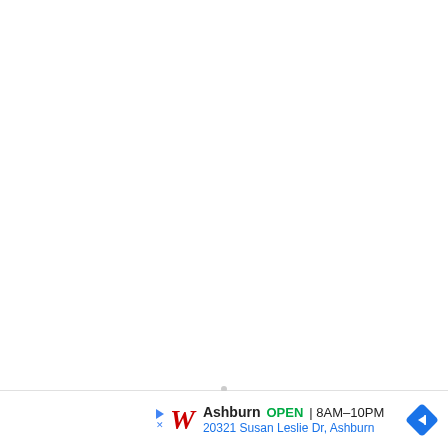[Figure (other): Large white/blank area representing main page content area (mostly empty white space)]
Walgreens Ashburn OPEN 8AM–10PM 20321 Susan Leslie Dr, Ashburn [advertisement banner with navigation arrow]